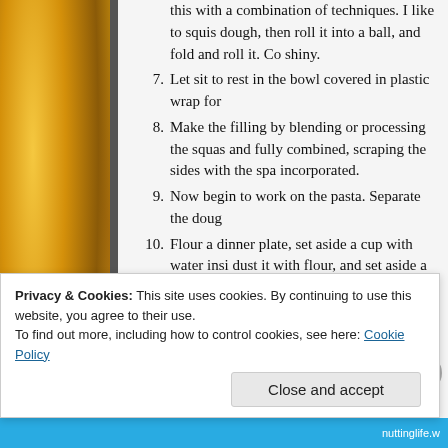[Figure (photo): Yellow squash or banana peppers photograph on the left side of the page]
this with a combination of techniques. I like to squis dough, then roll it into a ball, and fold and roll it. Co shiny.
7. Let sit to rest in the bowl covered in plastic wrap fo
8. Make the filling by blending or processing the squas and fully combined, scraping the sides with the spa incorporated.
9. Now begin to work on the pasta. Separate the doug
10. Flour a dinner plate, set aside a cup with water insi dust it with flour, and set aside a knife and a dinner surface again.
11. Roll the 1/8 dough ball as thin as possible. Try to m
12. Cut the rectangular shape in half, and place 1 tbsp each piece.
13. Before folding the dough over the filling, wet water w
Privacy & Cookies: This site uses cookies. By continuing to use this website, you agree to their use.
To find out more, including how to control cookies, see here: Cookie Policy
Close and accept